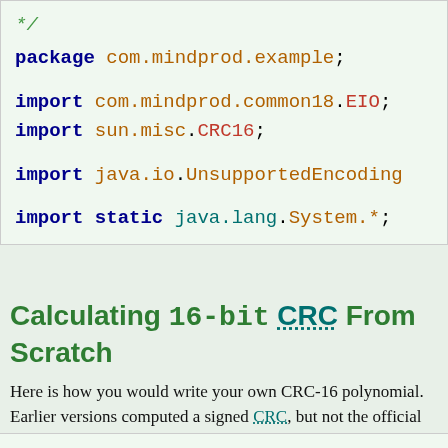[Figure (screenshot): Java source code snippet showing package and import statements with syntax highlighting]
Calculating 16-bit CRC From Scratch
Here is how you would write your own CRC-16 polynomial. Earlier versions computed a signed CRC, but not the official CCITT CRC. This one should be the usual one used in datacommunications. There are variants, so you should check this code is generating what you want. If this does not give what you want, try starting want off at 0 instead